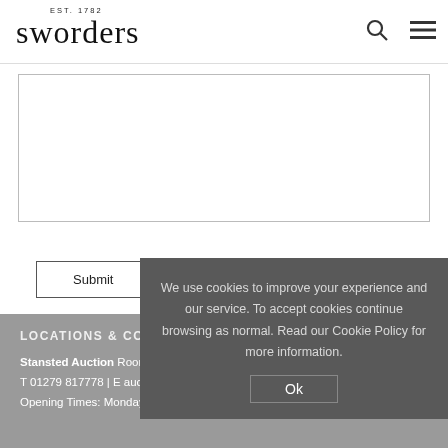EST. 1782 sworders
[Figure (screenshot): Textarea input field, empty, with border]
Submit
LOCATIONS & CONTACT
Stansted Auction Rooms
T 01279 817778 | E auctions@sworders.co.uk
Opening Times: Monday-Friday 9am-5pm
We use cookies to improve your experience and our service. To accept cookies continue browsing as normal. Read our Cookie Policy for more information.
Ok